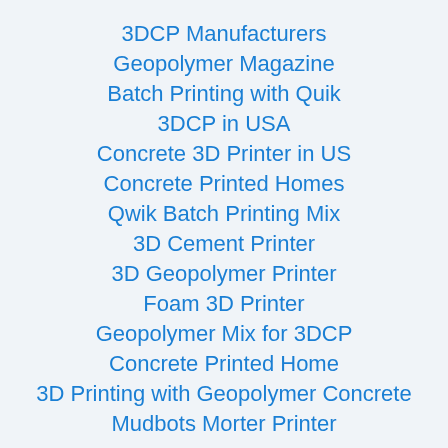3DCP Manufacturers
Geopolymer Magazine
Batch Printing with Quik
3DCP in USA
Concrete 3D Printer in US
Concrete Printed Homes
Qwik Batch Printing Mix
3D Cement Printer
3D Geopolymer Printer
Foam 3D Printer
Geopolymer Mix for 3DCP
Concrete Printed Home
3D Printing with Geopolymer Concrete
Mudbots Morter Printer